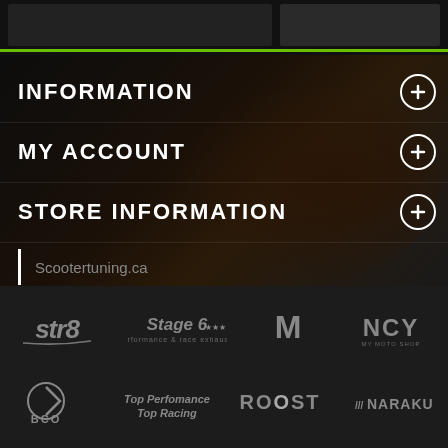[Figure (screenshot): Top navigation bar with two dark panels separated by green line]
INFORMATION
MY ACCOUNT
STORE INFORMATION
Scootertuning.ca
[Figure (logo): Brand logos row 1: STR8, Stage 6, Malossi (M), NCY]
[Figure (logo): Brand logos row 2: BCO, Top Racing, ROOST, Naraku]